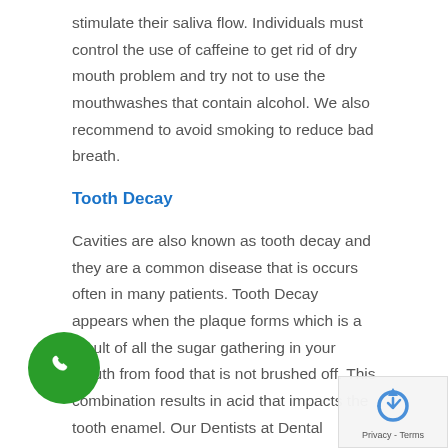stimulate their saliva flow. Individuals must control the use of caffeine to get rid of dry mouth problem and try not to use the mouthwashes that contain alcohol. We also recommend to avoid smoking to reduce bad breath.
Tooth Decay
Cavities are also known as tooth decay and they are a common disease that is occurs often in many patients. Tooth Decay appears when the plaque forms which is a result of all the sugar gathering in your mouth from food that is not brushed off. This combination results in acid that impacts the tooth enamel. Our Dentists at Dental London Ontario suggest that there is no certain age limit for this issue, as the individual can get